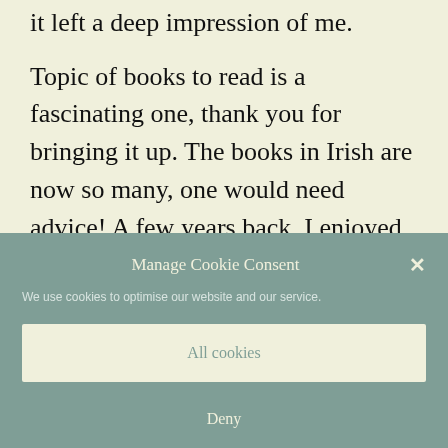it left a deep impression of me.
Topic of books to read is a fascinating one, thank you for bringing it up. The books in Irish are now so many, one would need advice! A few years back, I enjoyed reading "Ón tSeanam Anall". It is a
Manage Cookie Consent
We use cookies to optimise our website and our service.
All cookies
Deny